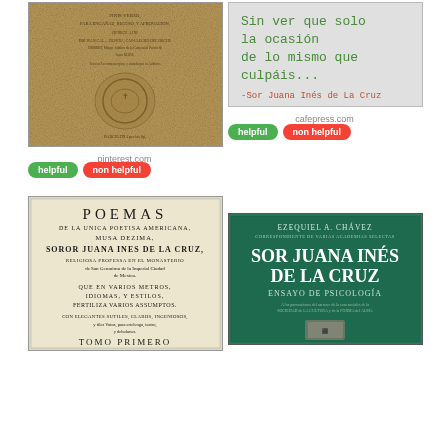[Figure (photo): Old Spanish book cover with aged paper, coat of arms emblem, and handwritten-style text]
pinterest.com
[Figure (photo): Quote card with green text reading 'Sin ver que solo la ocasión de lo mismo que culpáis...' and attribution '-Sor Juana Inés de La Cruz']
cafepress.com
[Figure (photo): Book title page: POEMAS DE LA UNICA POETISA AMERICANA, MUSA DEZIMA, SOROR JUANA INES DE LA CRUZ, RELIGIOSA PROFESSA EN EL MONASTERIO de San Geronimo de la Imperial Ciudad de Mexico, QUE EN VARIOS METROS, IDIOMAS, Y ESTILOS, FERTILIZA VARIOS ASSUMPTOS. CON ELEGANTES SUTILES, CLAROS, INGENIOSOS, y tiles Votos, para crielenga, teatro, y deholones. TOMO PRIMERO]
[Figure (photo): Book cover: EZEQUIEL A. CHAVEZ - SOR JUANA INES DE LA CRUZ - ENSAYO DE PSICOLOGIA, teal/green background with stone fragment image]